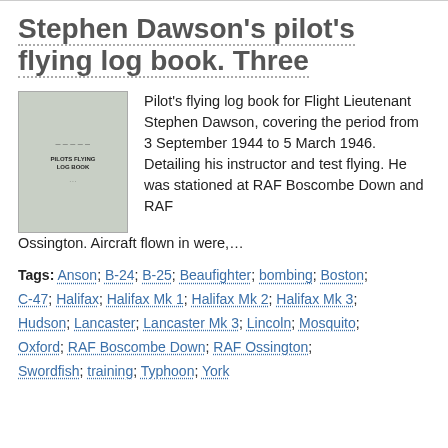Stephen Dawson's pilot's flying log book. Three
[Figure (photo): Thumbnail photo of a green pilot's flying log book cover]
Pilot's flying log book for Flight Lieutenant Stephen Dawson, covering the period from 3 September 1944 to 5 March 1946. Detailing his instructor and test flying. He was stationed at RAF Boscombe Down and RAF Ossington. Aircraft flown in were,…
Tags: Anson; B-24; B-25; Beaufighter; bombing; Boston; C-47; Halifax; Halifax Mk 1; Halifax Mk 2; Halifax Mk 3; Hudson; Lancaster; Lancaster Mk 3; Lincoln; Mosquito; Oxford; RAF Boscombe Down; RAF Ossington; Swordfish; training; Typhoon; York